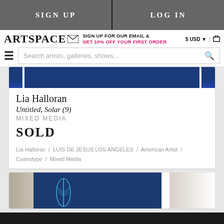SIGN UP | LOG IN
ARTSPACE | SIGN UP FOR OUR EMAIL & GET 10% OFF YOUR FIRST ORDER | $ USD | cart
Search artists, galleries, shows...
[Figure (photo): Partial view of a dark blue artwork by Lia Halloran]
Lia Halloran
Untitled, Solar (9)
MIXED MEDIA
SOLD
Lia Halloran / LUIS DE JESUS LOS ANGELES / American Artist / Cyanotype / Mixed Media
[Figure (photo): Second artwork image showing a blue background with a feather-like cyan structure, framed with light-colored borders on left and right]